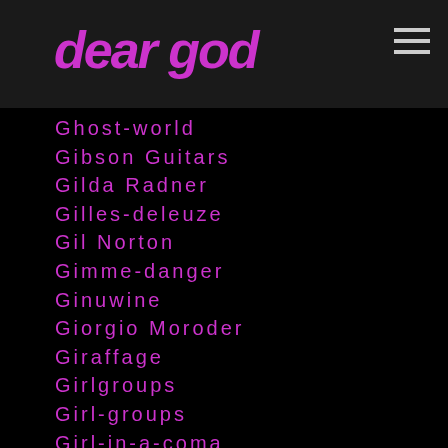dear god
Ghost-world
Gibson Guitars
Gilda Radner
Gilles-deleuze
Gil Norton
Gimme-danger
Ginuwine
Giorgio Moroder
Giraffage
Girlgroups
Girl-groups
Girl-in-a-coma
Giullietta-masini
Gladys Knight
Glam Rock
Glassjaw
Glen-campbell